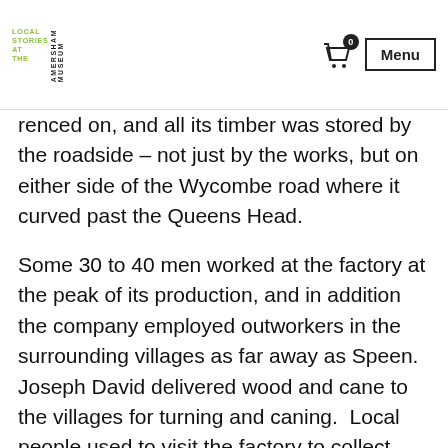LOCAL STORIES AT THE AMERSHAM MUSEUM — Menu
renced on, and all its timber was stored by the roadside – not just by the works, but on either side of the Wycombe road where it curved past the Queens Head.
Some 30 to 40 men worked at the factory at the peak of its production, and in addition the company employed outworkers in the surrounding villages as far away as Speen. Joseph David delivered wood and cane to the villages for turning and caning.  Local people used to visit the factory to collect woodcuttings, firewood and sawdust. The factory was lit by oil lamps which must have been a considerable fire risk.